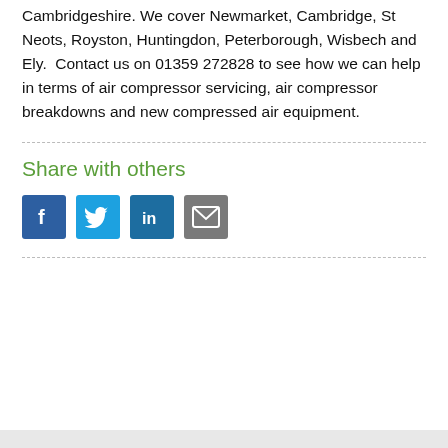Cambridgeshire. We cover Newmarket, Cambridge, St Neots, Royston, Huntingdon, Peterborough, Wisbech and Ely.  Contact us on 01359 272828 to see how we can help in terms of air compressor servicing, air compressor breakdowns and new compressed air equipment.
Share with others
[Figure (infographic): Row of four social sharing icon buttons: Facebook (blue with f), Twitter (light blue with bird), LinkedIn (dark blue with in), Email (grey with envelope)]